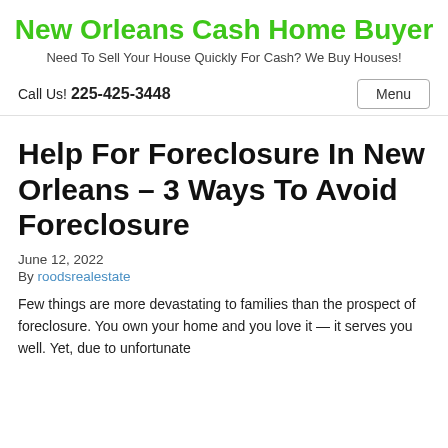New Orleans Cash Home Buyer
Need To Sell Your House Quickly For Cash? We Buy Houses!
Call Us! 225-425-3448
Help For Foreclosure In New Orleans – 3 Ways To Avoid Foreclosure
June 12, 2022
By roodsrealestate
Few things are more devastating to families than the prospect of foreclosure. You own your home and you love it — it serves you well. Yet, due to unfortunate